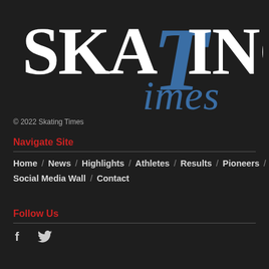[Figure (logo): Skating Times logo with white serif 'SKA' and 'ING', large blue italic 'T', and blue italic 'imes' text on dark background]
© 2022 Skating Times
Navigate Site
Home / News / Highlights / Athletes / Results / Pioneers / Social Media Wall / Contact
Follow Us
[Figure (infographic): Facebook and Twitter social media icons]